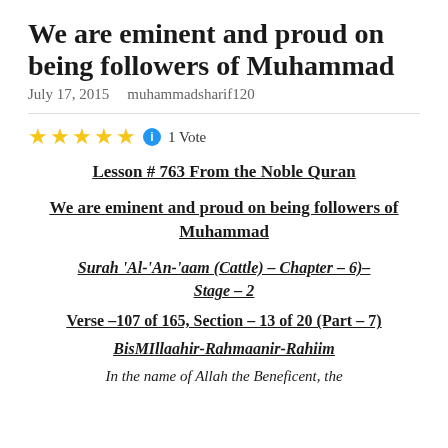We are eminent and proud on being followers of Muhammad
July 17, 2015   muhammadsharif120
★★★★★ ℹ 1 Vote
Lesson # 763 From the Noble Quran
We are eminent and proud on being followers of Muhammad
Surah 'Al-'An-'aam (Cattle) – Chapter – 6)– Stage – 2
Verse –107 of 165, Section – 13 of 20 (Part – 7)
BisMIllaahir-Rahmaanir-Rahiim
In the name of Allah the Beneficent, the